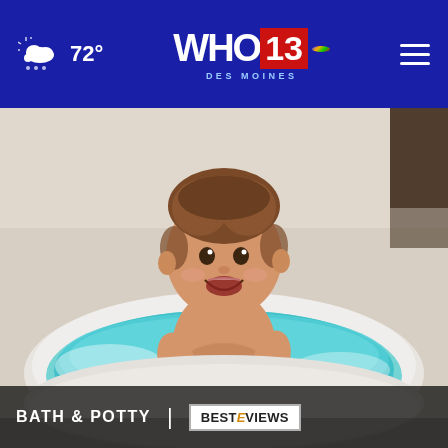WHO 13 Des Moines NBC — 72° weather — navigation bar
[Figure (photo): A smiling baby or toddler sitting in a round blue baby bathtub filled with water, bathroom setting with beige/tan walls in background]
BATH & POTTY | BESTREVIEWS